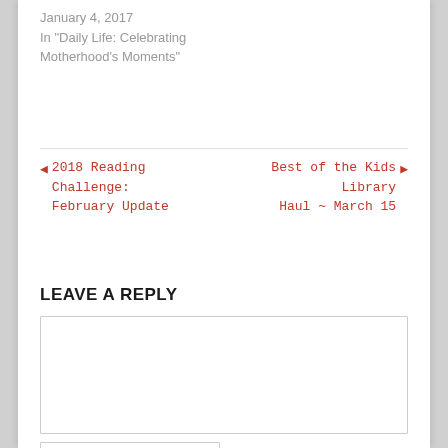January 4, 2017
In "Daily Life: Celebrating Motherhood's Moments"
◄ 2018 Reading Challenge: February Update
Best of the Kids Library Haul ~ March 15 ►
LEAVE A REPLY
Comment *
Name